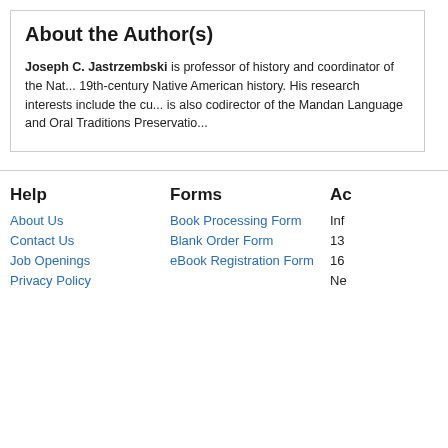About the Author(s)
Joseph C. Jastrzembski is professor of history and coordinator of the Nat... 19th-century Native American history. His research interests include the cu... is also codirector of the Mandan Language and Oral Traditions Preservatio...
Help
About Us
Contact Us
Job Openings
Privacy Policy
Forms
Book Processing Form
Blank Order Form
eBook Registration Form
Ac
Inf
13
16
Ne